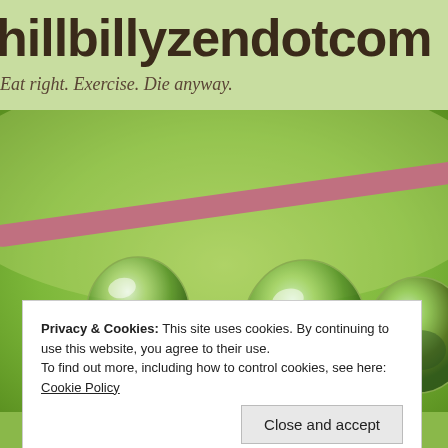hillbillyzendotcom
Eat right. Exercise. Die anyway.
[Figure (photo): Close-up photo of water droplets hanging from a thin reddish-brown stem or wire against a green bokeh background. Three large, spherical water drops are visible, reflecting green foliage.]
Privacy & Cookies: This site uses cookies. By continuing to use this website, you agree to their use.
To find out more, including how to control cookies, see here: Cookie Policy
Close and accept
Hillbilly Zen - Blessings, Blogs, B...